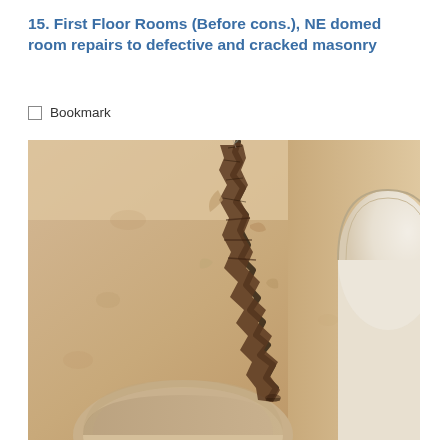15. First Floor Rooms (Before cons.), NE domed room repairs to defective and cracked masonry
Bookmark
[Figure (photo): Photograph showing cracked and defective masonry in a domed room. A large jagged crack runs vertically up the plastered wall, exposing dark damaged masonry beneath. The wall is a warm beige/cream colour. To the right, an arched alcove or window opening is partially visible. At the bottom, a curved plaster element (arch or niche) is visible.]